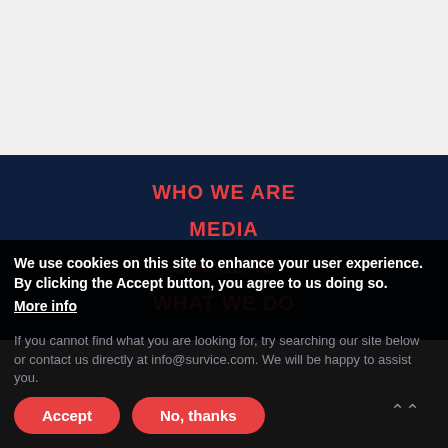[Figure (screenshot): Gray empty section at top of page]
WHO WE ARE
MEDIA
CAREERS
WHAT WE DO
We use cookies on this site to enhance your user experience. By clicking the Accept button, you agree to us doing so.
More info
If you cannot find what you are looking for, try searching our site below or contact us directly at info@survice.com. We will be happy to assist you.